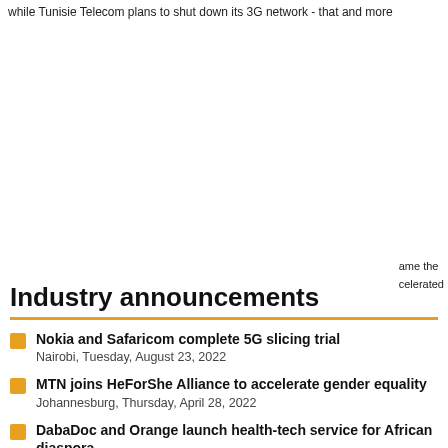while Tunisie Telecom plans to shut down its 3G network - that and more
[Figure (screenshot): Cookie consent banner with blue background. Text reads: 'This website uses cookies, including third party ones, to allow for analysis of how people use our website in order to improve your experience and our services. By continuing to use our website, you agree to the use of such cookies. Click here for more info'. Contains an 'I Agree' button.]
Industry announcements
Nokia and Safaricom complete 5G slicing trial
Nairobi, Tuesday, August 23, 2022
MTN joins HeForShe Alliance to accelerate gender equality
Johannesburg, Thursday, April 28, 2022
DabaDoc and Orange launch health-tech service for African diaspora
Paris, Friday, April 1, 2022